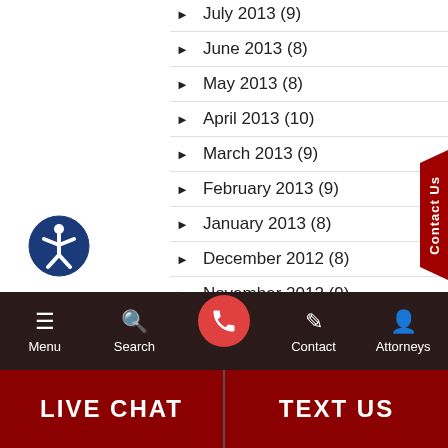July 2013 (9)
June 2013 (8)
May 2013 (8)
April 2013 (10)
March 2013 (9)
February 2013 (9)
January 2013 (8)
December 2012 (8)
November 2012 (9)
October 2012 (5)
September 2012 (6)
Menu | Search | Contact | Attorneys | LIVE CHAT | TEXT US